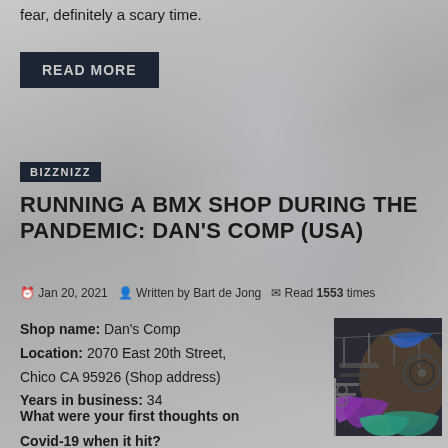fear, definitely a scary time.
READ MORE
BIZZNIZZ
RUNNING A BMX SHOP DURING THE PANDEMIC: DAN'S COMP (USA)
Jan 20, 2021  Written by Bart de Jong  Read 1553 times
Shop name: Dan's Comp
Location: 2070 East 20th Street, Chico CA 95926 (Shop address)
Years in business: 34
[Figure (photo): Interior of Dan's Comp BMX shop showing bikes and parts hanging on walls, with colorful purple and teal BMX frames visible]
What were your first thoughts on Covid-19 when it hit?